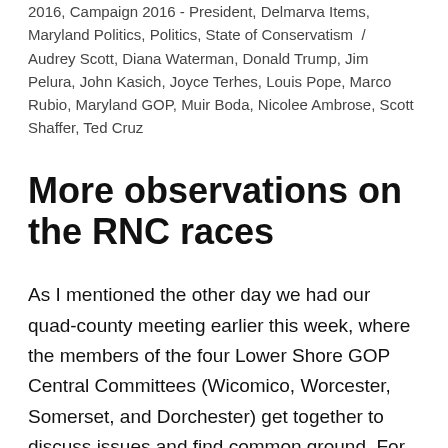2016, Campaign 2016 - President, Delmarva Items, Maryland Politics, Politics, State of Conservatism / Audrey Scott, Diana Waterman, Donald Trump, Jim Pelura, John Kasich, Joyce Terhes, Louis Pope, Marco Rubio, Maryland GOP, Muir Boda, Nicolee Ambrose, Scott Shaffer, Ted Cruz
More observations on the RNC races
As I mentioned the other day we had our quad-county meeting earlier this week, where the members of the four Lower Shore GOP Central Committees (Wicomico, Worcester, Somerset, and Dorchester) get together to discuss issues and find common ground. For the most part, this meeting (ably ran by John McCullough of